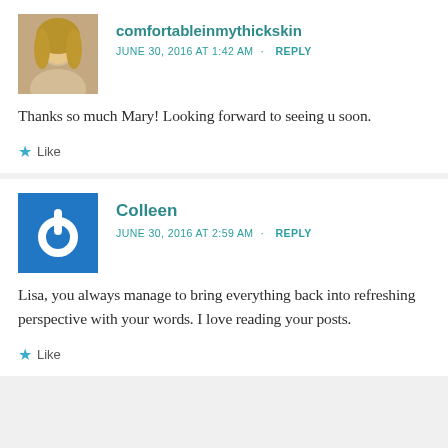comfortableinmythickskin
JUNE 30, 2016 AT 1:42 AM · REPLY
Thanks so much Mary! Looking forward to seeing u soon.
Like
Colleen
JUNE 30, 2016 AT 2:59 AM · REPLY
Lisa, you always manage to bring everything back into refreshing perspective with your words. I love reading your posts.
Like